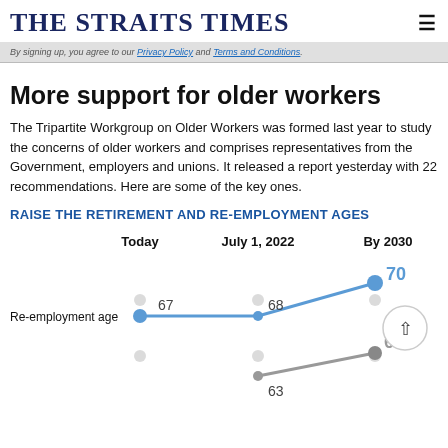THE STRAITS TIMES
By signing up, you agree to our Privacy Policy and Terms and Conditions.
More support for older workers
The Tripartite Workgroup on Older Workers was formed last year to study the concerns of older workers and comprises representatives from the Government, employers and unions. It released a report yesterday with 22 recommendations. Here are some of the key ones.
RAISE THE RETIREMENT AND RE-EMPLOYMENT AGES
[Figure (line-chart): Raise the Retirement and Re-employment Ages]